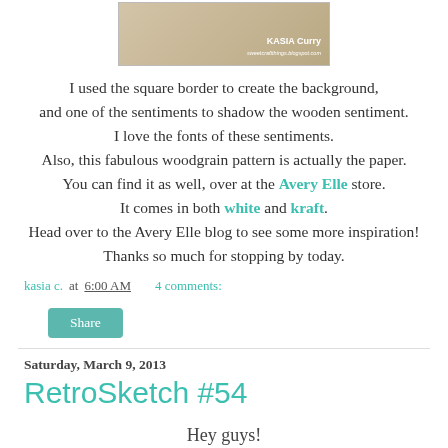[Figure (photo): Photo of a card with 'Kasia Curry' signature and blog URL on a wooden background]
I used the square border to create the background, and one of the sentiments to shadow the wooden sentiment. I love the fonts of these sentiments. Also, this fabulous woodgrain pattern is actually the paper. You can find it as well, over at the Avery Elle store. It comes in both white and kraft. Head over to the Avery Elle blog to see some more inspiration! Thanks so much for stopping by today.
kasia c.  at  6:00 AM    4 comments:
Share
Saturday, March 9, 2013
RetroSketch #54
Hey guys!